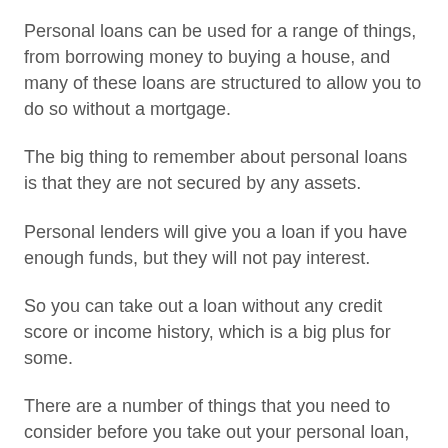Personal loans can be used for a range of things, from borrowing money to buying a house, and many of these loans are structured to allow you to do so without a mortgage.
The big thing to remember about personal loans is that they are not secured by any assets.
Personal lenders will give you a loan if you have enough funds, but they will not pay interest.
So you can take out a loan without any credit score or income history, which is a big plus for some.
There are a number of things that you need to consider before you take out your personal loan, including the loan's interest rate, the amount you're borrowing and whether it's secured by an asset or debt.
There's also the question of the duration of the loan.